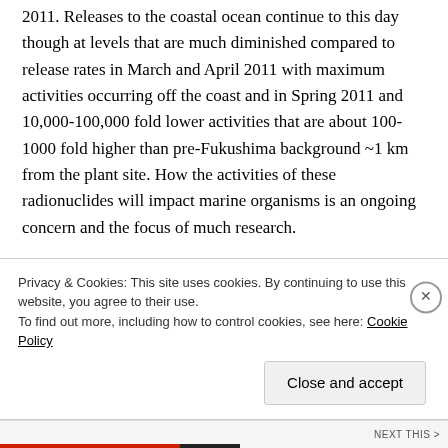2011. Releases to the coastal ocean continue to this day though at levels that are much diminished compared to release rates in March and April 2011 with maximum activities occurring off the coast and in Spring 2011 and 10,000-100,000 fold lower activities that are about 100-1000 fold higher than pre-Fukushima background ~1 km from the plant site. How the activities of these radionuclides will impact marine organisms is an ongoing concern and the focus of much research.
Marine algae are made up of both prokaryotic (e.g. cyanobacteria) and eukaryotic (e.g. diatoms and coccolithophores) organisms. Generally microorganisms tend to be more tolerant of ionizing radiation than animals with...
Privacy & Cookies: This site uses cookies. By continuing to use this website, you agree to their use. To find out more, including how to control cookies, see here: Cookie Policy